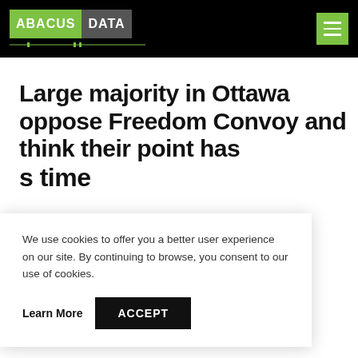[Figure (logo): Abacus Data logo with green 'ABACUS' block and grey 'DATA' block, with decorative underline elements]
Large majority in Ottawa oppose Freedom Convoy and think their point has been made, it's time to go home.
We use cookies to offer you a better user experience on our site. By continuing to browse, you consent to our use of cookies.
Learn More   ACCEPT
friends and business partners. We also share an office space in